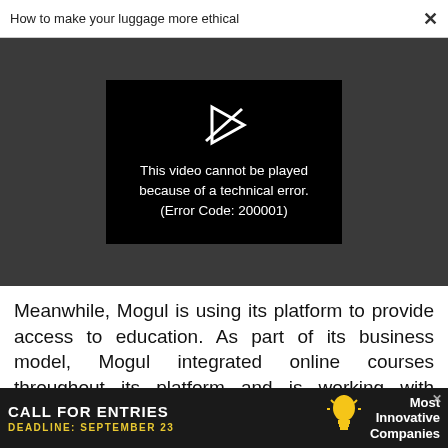How to make your luggage more ethical ×
[Figure (screenshot): Video player showing error: This video cannot be played because of a technical error. (Error Code: 200001)]
Meanwhile, Mogul is using its platform to provide access to education. As part of its business model, Mogul integrated online courses throughout its platform and is working with international organizations to provide these courses to those who
[Figure (other): Advertisement banner: CALL FOR ENTRIES DEADLINE: SEPTEMBER 23 with lightbulb icon, Most Innovative Companies]